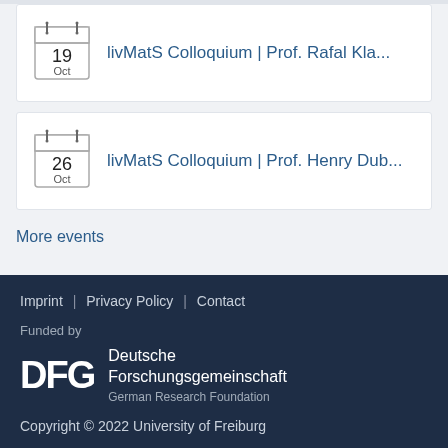livMatS Colloquium | Prof. Rafal Kla... — 19 Oct
livMatS Colloquium | Prof. Henry Dub... — 26 Oct
More events
Imprint | Privacy Policy | Contact
Funded by
DFG Deutsche Forschungsgemeinschaft German Research Foundation
Copyright © 2022 University of Freiburg